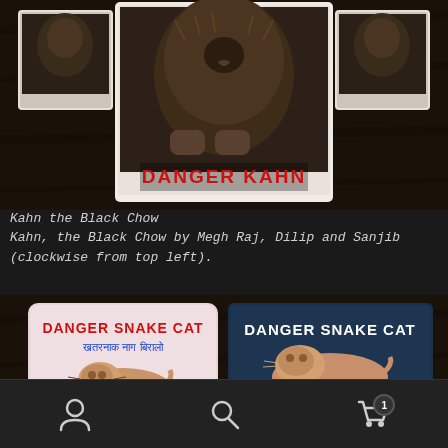[Figure (photo): Photo of a black chow dog painting/artwork with text DANGER KAHN on a card, displayed on a dark wooden surface with smaller prints around it]
Kahn the Black Chow
Kahn, the Black Chow by Megh Raj, Dilip and Sanjib (clockwise from top left).
[Figure (photo): Photo showing two signs reading DANGER SNAKE CAT with Nepali text and an illustration of an orange/cream cat lying down, one sign on light pink/white background and one on dark blue/teal background. Below are additional artwork pieces partially visible.]
Navigation bar with user icon, search icon, and shopping cart icon with badge showing 1